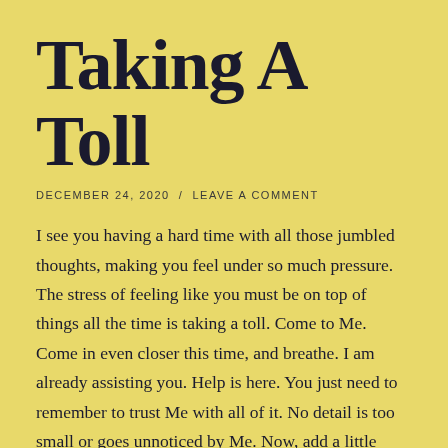Taking A Toll
DECEMBER 24, 2020  /  LEAVE A COMMENT
I see you having a hard time with all those jumbled thoughts, making you feel under so much pressure. The stress of feeling like you must be on top of things all the time is taking a toll. Come to Me. Come in even closer this time, and breathe. I am already assisting you. Help is here. You just need to remember to trust Me with all of it. No detail is too small or goes unnoticed by Me. Now, add a little more self-care to the mix, trusting that there will be time enough for